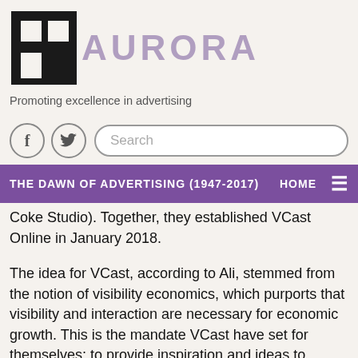[Figure (logo): Aurora magazine logo with stylized 'a' icon in black and purple text reading AURORA]
Promoting excellence in advertising
[Figure (screenshot): Social media icons (Facebook, Twitter) and a search bar with placeholder text 'Search']
THE DAWN OF ADVERTISING (1947-2017)    HOME  ≡
Coke Studio). Together, they established VCast Online in January 2018.
The idea for VCast, according to Ali, stemmed from the notion of visibility economics, which purports that visibility and interaction are necessary for economic growth. This is the mandate VCast have set for themselves; to provide inspiration and ideas to audiences by highlighting individuals who are doing something that stands out and creating a platform for them to make connections.